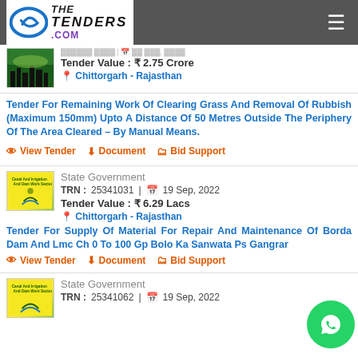The Tenders .com
Tender Value : ₹ 2.75 Crore
Chittorgarh - Rajasthan
Tender For Remaining Work Of Clearing Grass And Removal Of Rubbish (Maximum 150mm) Upto A Distance Of 50 Metres Outside The Periphery Of The Area Cleared – By Manual Means.
View Tender | Document | Bid Support
State Government
TRN :25341031  |  19 Sep, 2022
Tender Value : ₹ 6.29 Lacs
Chittorgarh - Rajasthan
Tender For Supply Of Material For Repair And Maintenance Of Borda Dam And Lmc Ch 0 To 100 Gp Bolo Ka Sanwata Ps Gangrar
View Tender | Document | Bid Support
State Government
TRN :25341062  |  19 Sep, 2022